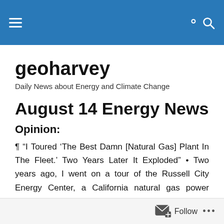geoharvey [navigation bar with hamburger menu and search icon]
geoharvey
Daily News about Energy and Climate Change
August 14 Energy News
Opinion:
¶ “I Toured ‘The Best Damn [Natural Gas] Plant In The Fleet.’ Two Years Later It Exploded” • Two years ago, I went on a tour of the Russell City Energy Center, a California natural gas power plant. Two months ago, the
Follow •••